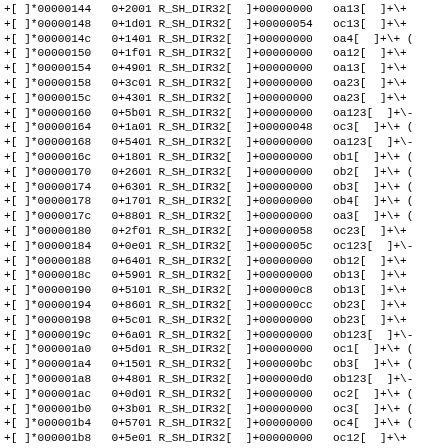Assembly/disassembly listing with hex addresses, offsets, R_SH_DIR32 relocations, and symbol references